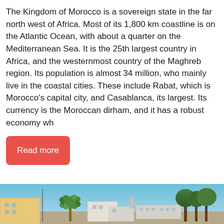The Kingdom of Morocco is a sovereign state in the far north west of Africa. Most of its 1,800 km coastline is on the Atlantic Ocean, with about a quarter on the Mediterranean Sea. It is the 25th largest country in Africa, and the westernmost country of the Maghreb region. Its population is almost 34 million, who mainly live in the coastal cities. These include Rabat, which is Morocco's capital city, and Casablanca, its largest. Its currency is the Moroccan dirham, and it has a robust economy wh
[Figure (other): A 'Read more' button with red/salmon background and white text]
[Figure (photo): A coastal city scene showing white buildings, palm trees, other trees, under a blue sky. Likely a Moroccan coastal town.]